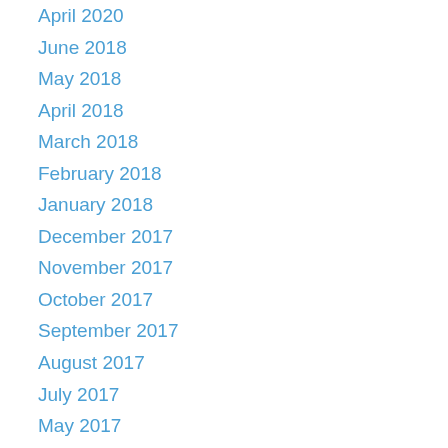April 2020
June 2018
May 2018
April 2018
March 2018
February 2018
January 2018
December 2017
November 2017
October 2017
September 2017
August 2017
July 2017
May 2017
April 2017
March 2017
February 2017
November 2016
September 2016
August 2016